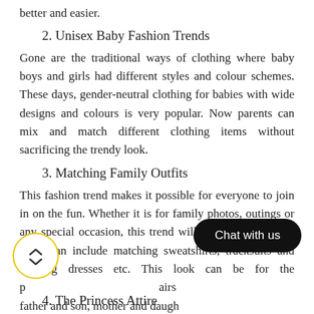better and easier.
2. Unisex Baby Fashion Trends
Gone are the traditional ways of clothing where baby boys and girls had different styles and colour schemes. These days, gender-neutral clothing for babies with wide designs and colours is very popular. Now parents can mix and match different clothing items without sacrificing the trendy look.
3. Matching Family Outfits
This fashion trend makes it possible for everyone to join in on the fun. Whether it is for family photos, outings or any special occasion, this trend will never get old. This trend can include matching sweatshirts, tracksuits and evening dresses etc. This look can be for the pairs father and son, mother and daugh...
4. The Princess Attire